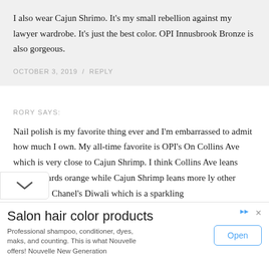I also wear Cajun Shrimo. It's my small rebellion against my lawyer wardrobe. It's just the best color. OPI Innusbrook Bronze is also gorgeous.
OCTOBER 3, 2019 / REPLY
RORY SAYS:
Nail polish is my favorite thing ever and I'm embarrassed to admit how much I own. My all-time favorite is OPI's On Collins Ave which is very close to Cajun Shrimp. I think Collins Ave leans more towards orange while Cajun Shrimp leans more ly other favorite is Chanel's Diwali which is a sparkling
[Figure (infographic): Advertisement banner for Salon hair color products by Nouvelle. Contains title 'Salon hair color products', description text, and an Open button.]